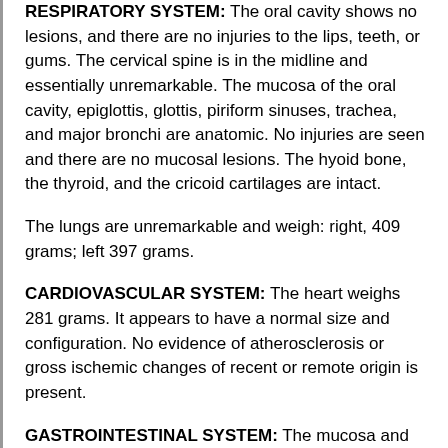RESPIRATORY SYSTEM: The oral cavity shows no lesions, and there are no injuries to the lips, teeth, or gums. The cervical spine is in the midline and essentially unremarkable. The mucosa of the oral cavity, epiglottis, glottis, piriform sinuses, trachea, and major bronchi are anatomic. No injuries are seen and there are no mucosal lesions. The hyoid bone, the thyroid, and the cricoid cartilages are intact.
The lungs are unremarkable and weigh: right, 409 grams; left 397 grams.
CARDIOVASCULAR SYSTEM: The heart weighs 281 grams. It appears to have a normal size and configuration. No evidence of atherosclerosis or gross ischemic changes of recent or remote origin is present.
GASTROINTESTINAL SYSTEM: The mucosa and